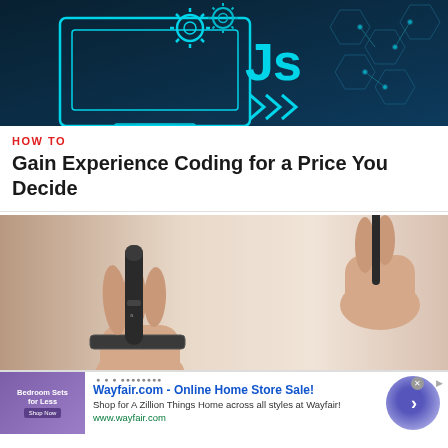[Figure (illustration): Dark teal/navy technology banner with a monitor icon showing 'Js' and gear icons, circuit-board hexagon network background, and chevron arrows. JavaScript themed tech illustration.]
HOW TO
Gain Experience Coding for a Price You Decide
[Figure (photo): Close-up photo of two hands holding a small black USB or pen-like device, wearing a watch on left wrist, white/beige blurred background.]
[Figure (infographic): Advertisement banner for Wayfair.com - Online Home Store Sale! showing thumbnail of bedroom furniture, Wayfair logo area, description text, URL, and a blue/purple circular arrow button.]